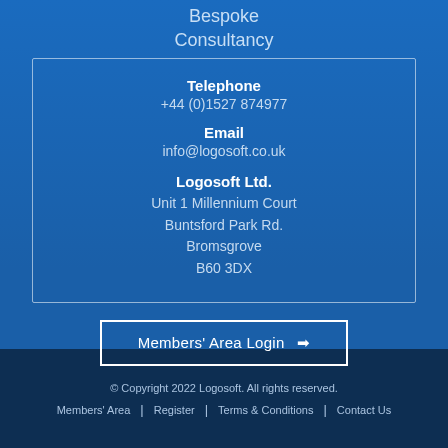Bespoke
Consultancy
Telephone
+44 (0)1527 874977
Email
info@logosoft.co.uk
Logosoft Ltd.
Unit 1 Millennium Court
Buntsford Park Rd.
Bromsgrove
B60 3DX
Members' Area Login ➡
© Copyright 2022 Logosoft. All rights reserved.
Members' Area | Register | Terms & Conditions | Contact Us